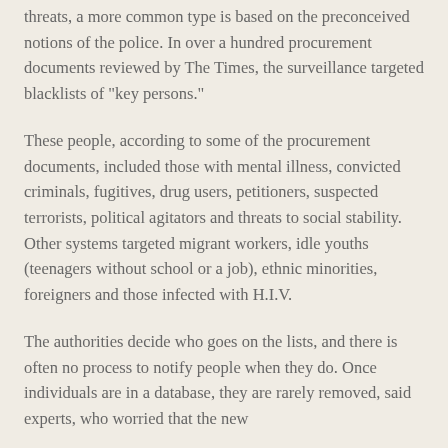threats, a more common type is based on the preconceived notions of the police. In over a hundred procurement documents reviewed by The Times, the surveillance targeted blacklists of "key persons."
These people, according to some of the procurement documents, included those with mental illness, convicted criminals, fugitives, drug users, petitioners, suspected terrorists, political agitators and threats to social stability. Other systems targeted migrant workers, idle youths (teenagers without school or a job), ethnic minorities, foreigners and those infected with H.I.V.
The authorities decide who goes on the lists, and there is often no process to notify people when they do. Once individuals are in a database, they are rarely removed, said experts, who worried that the new